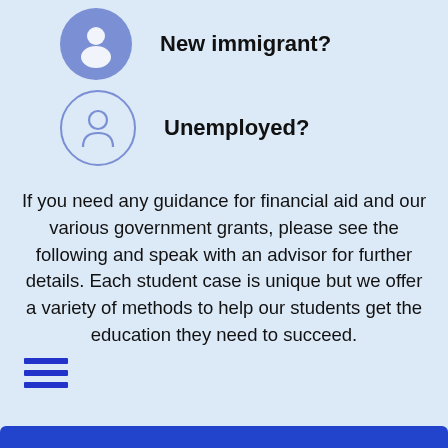[Figure (illustration): Filled circle icon with person silhouette (New immigrant icon) next to bold text 'New immigrant?']
[Figure (illustration): Outlined circle icon with person silhouette (Unemployed icon) next to bold text 'Unemployed?']
If you need any guidance for financial aid and our various government grants, please see the following and speak with an advisor for further details. Each student case is unique but we offer a variety of methods to help our students get the education they need to succeed.
[Figure (illustration): Three horizontal blue lines forming a hamburger/menu icon in the bottom left corner]
[Figure (illustration): Blue bar at the bottom of the page]